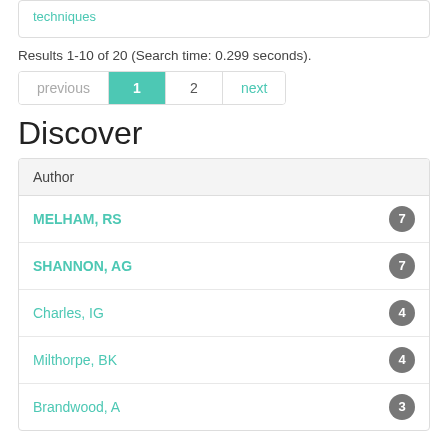techniques
Results 1-10 of 20 (Search time: 0.299 seconds).
previous 1 2 next
Discover
| Author |  |
| --- | --- |
| MELHAM, RS | 7 |
| SHANNON, AG | 7 |
| Charles, IG | 4 |
| Milthorpe, BK | 4 |
| Brandwood, A | 3 |